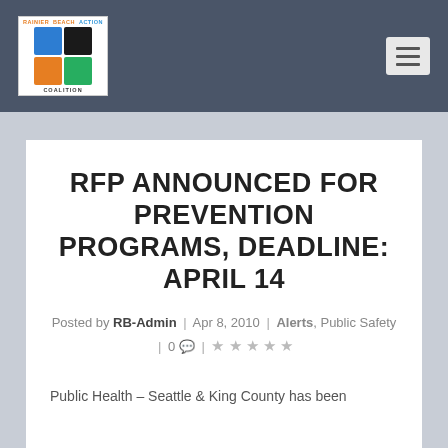[Figure (logo): Rainier Beach Action Coalition logo with colored grid squares and text]
RFP ANNOUNCED FOR PREVENTION PROGRAMS, DEADLINE: APRIL 14
Posted by RB-Admin | Apr 8, 2010 | Alerts, Public Safety | 0 💬 | ★★★★★
Public Health – Seattle & King County has been